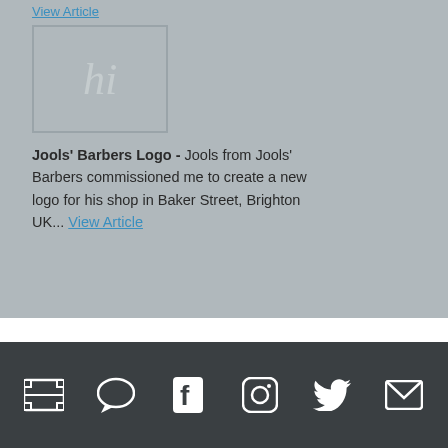to light in good time), I've got ...
View Article
[Figure (logo): Placeholder image thumbnail with stylized 'hi' text watermark on grey background]
Jools' Barbers Logo - Jools from Jools' Barbers commissioned me to create a new logo for his shop in Baker Street, Brighton UK... View Article
Social media icons: film/video, chat/comments, Facebook, Instagram, Twitter, Email